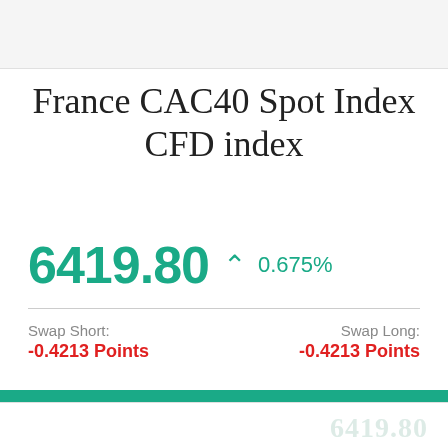[Figure (other): Top banner / advertisement placeholder area (light gray box)]
France CAC40 Spot Index CFD index
6419.80 ▲ 0.675%
Swap Short: -0.4213 Points
Swap Long: -0.4213 Points
Accept and Close ✕
Your browser settings do not allow cross-site tracking for advertising. Click on this page to allow AdRoll to use cross-site tracking to tailor ads to you. Learn more or opt out of this AdRoll tracking by clicking here. This message only appears once.